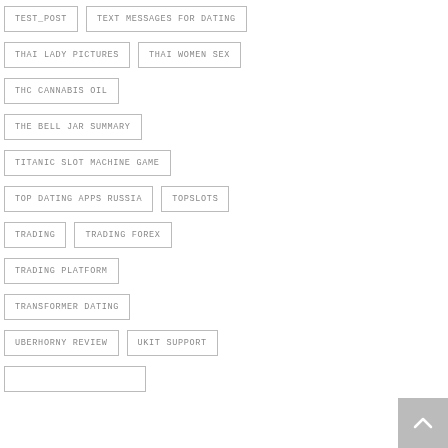TEST_POST
TEXT MESSAGES FOR DATING
THAI LADY PICTURES
THAI WOMEN SEX
THC CANNABIS OIL
THE BELL JAR SUMMARY
TITANIC SLOT MACHINE GAME
TOP DATING APPS RUSSIA
TOPSLOTS
TRADING
TRADING FOREX
TRADING PLATFORM
TRANSFORMER DATING
UBERHORNY REVIEW
UKIT SUPPORT